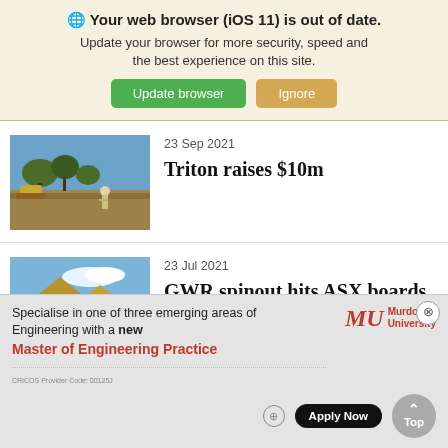🌐 Your web browser (iOS 11) is out of date. Update your browser for more security, speed and the best experience on this site.
Update browser | Ignore
23 Sep 2021
[Figure (photo): Outdoor scene with person walking on dry scrubland with trees and heavy equipment in background]
Triton raises $10m
23 Jul 2021
[Figure (photo): Outdoor mining scene with piles of earth/gravel and blue sky]
GWR spinout hits ASX boards
[Figure (infographic): Murdoch University advertisement: Specialise in one of three emerging areas of Engineering with a new Master of Engineering Practice. Apply Now button.]